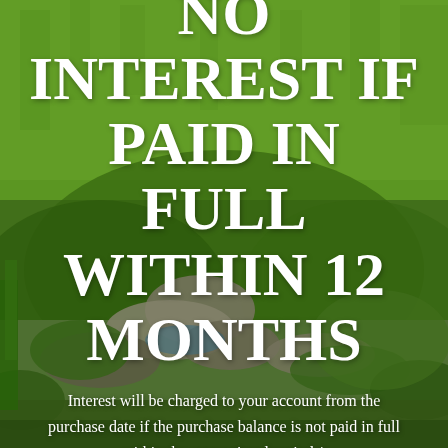[Figure (photo): Background photo of a garden/lawn scene with green grass, lush plants, stones, and a small water feature]
NO INTEREST IF PAID IN FULL WITHIN 12 MONTHS
Interest will be charged to your account from the purchase date if the purchase balance is not paid in full within the promotional period.*